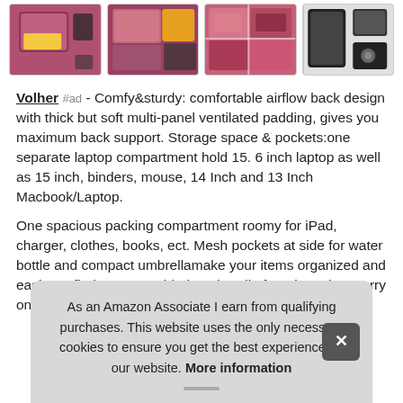[Figure (photo): Four product images of a pink/maroon backpack showing interior compartments, pockets, and back panel views]
Volher #ad - Comfy&sturdy: comfortable airflow back design with thick but soft multi-panel ventilated padding, gives you maximum back support. Storage space & pockets:one separate laptop compartment hold 15. 6 inch laptop as well as 15 inch, binders, mouse, 14 Inch and 13 Inch Macbook/Laptop.
One spacious packing compartment roomy for iPad, charger, clothes, books, ect. Mesh pockets at side for water bottle and compact umbrellamake your items organized and easier to find. Foam padded top handle for a long time carry on. Usb port cha con
As an Amazon Associate I earn from qualifying purchases. This website uses the only necessary cookies to ensure you get the best experience on our website. More information